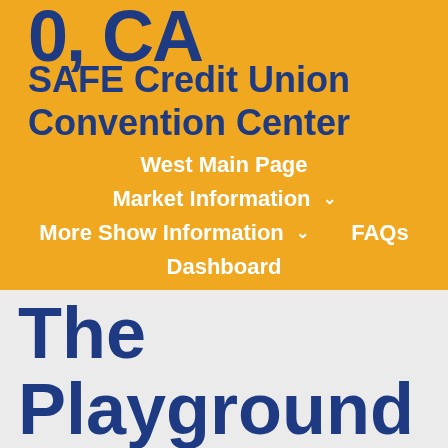0, CA
SAFE Credit Union Convention Center
West Main Page
Market Information
More Show Information    FAQs
Dashboard
The Playground